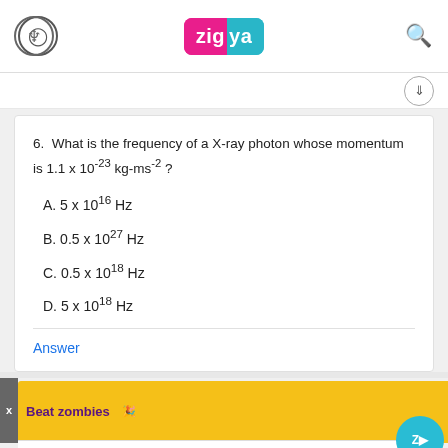Zigya
6. What is the frequency of a X-ray photon whose momentum is 1.1 x 10^-23 kg-ms^-2 ?
A. 5 x 10^16 Hz
B. 0.5 x 10^27 Hz
C. 0.5 x 10^18 Hz
D. 5 x 10^18 Hz
Answer
7. The g...